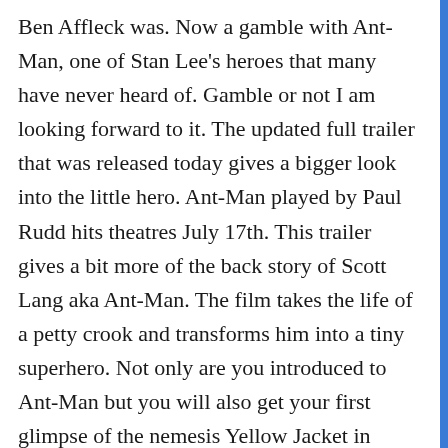Ben Affleck was. Now a gamble with Ant-Man, one of Stan Lee's heroes that many have never heard of. Gamble or not I am looking forward to it. The updated full trailer that was released today gives a bigger look into the little hero. Ant-Man played by Paul Rudd hits theatres July 17th. This trailer gives a bit more of the back story of Scott Lang aka Ant-Man. The film takes the life of a petty crook and transforms him into a tiny superhero. Not only are you introduced to Ant-Man but you will also get your first glimpse of the nemesis Yellow Jacket in action in the new trailer. Marvel has become known for their teasers both in the trailers and the movies themselves. This new trailer does not dissapoint. As someone that grew up reading Marvel comics, I cannot wait to see what they have in store next. View the new Ant-Man trailer here: How about you: Are you a Marvel movie fan? Will you check out Ant-Man in theatres? Would love to hear your